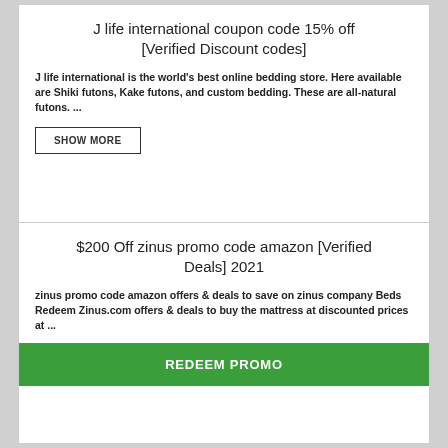J life international coupon code 15% off [Verified Discount codes]
J life international is the world's best online bedding store. Here available are Shiki futons, Kake futons, and custom bedding. These are all-natural futons. ...
SHOW MORE
$200 Off zinus promo code amazon [Verified Deals] 2021
zinus promo code amazon offers & deals to save on zinus company Beds Redeem Zinus.com offers & deals to buy the mattress at discounted prices at ...
REDEEM PROMO